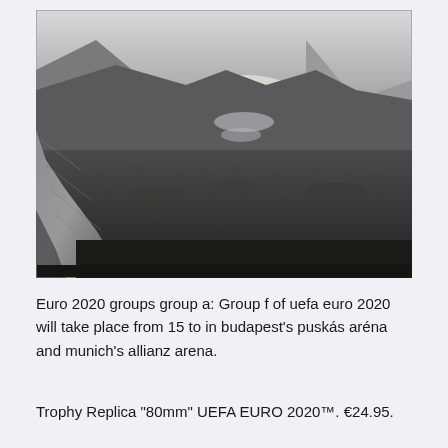[Figure (photo): Black and white landscape photograph showing a rocky highland scene with a large boulder in the foreground left, rolling hills covered in grass, a river or lake visible in the misty middle distance, and mountains fading into a pale sky in the background.]
Euro 2020 groups group a: Group f of uefa euro 2020 will take place from 15 to in budapest's puskás aréna and munich's allianz arena.
Trophy Replica "80mm" UEFA EURO 2020™. €24.95.